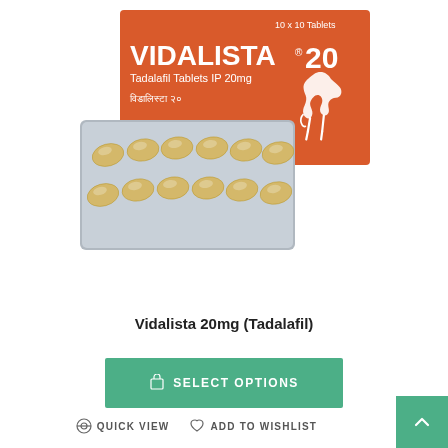[Figure (photo): Product photo showing Vidalista 20 orange box (labeled '10 x 10 Tablets', 'VIDALISTA 20', 'Tadalafil Tablets IP 20mg', Hindi text 'विडालिस्टा २०', white horse logo) with a blister pack of yellow teardrop-shaped tablets in front.]
Vidalista 20mg (Tadalafil)
SELECT OPTIONS
QUICK VIEW   ADD TO WISHLIST